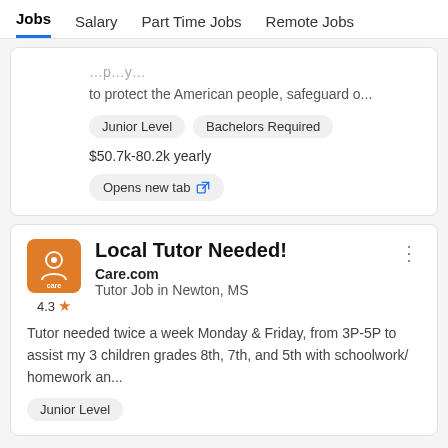Jobs  Salary  Part Time Jobs  Remote Jobs
to protect the American people, safeguard o...
Junior Level   Bachelors Required
$50.7k-80.2k yearly
Opens new tab
Local Tutor Needed!
Care.com
Tutor Job in Newton, MS
Tutor needed twice a week Monday & Friday, from 3P-5P to assist my 3 children grades 8th, 7th, and 5th with schoolwork/ homework an...
Junior Level